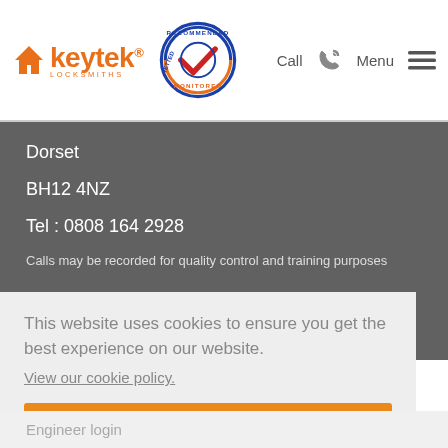[Figure (logo): Keytek Locksmiths logo with orange house icon and orange text, alongside a circular blue 'Recommended Vetted Monitored' badge with a red checkmark]
Call  Menu
Dorset
BH12 4NZ
Tel : 0808 164 2928
Calls may be recorded for quality control and training purposes
This website uses cookies to ensure you get the best experience on our website.
View our cookie policy.
Dismiss
Engineer login